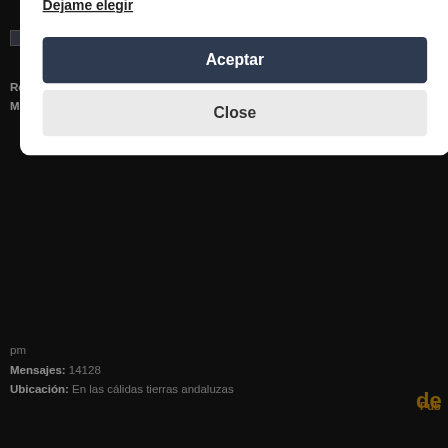[Figure (screenshot): Forum page background with dark theme showing user avatar, registration info (Registrado: Dom Ago 10, 2008 1:11 am, Mensajes: 415), post title with exclamation marks about metal, and bottom section with Mensajes 14128, Ubicación, and disc tracklist text]
¡Usamos cookies!
Este sitio utiliza cookies para sus funciones básicas, así como para la recopilación de datos y la publicidad. Para obtener más información sobre cookies y otros datos confidenciales. Dejame elegir
Aceptar
Close